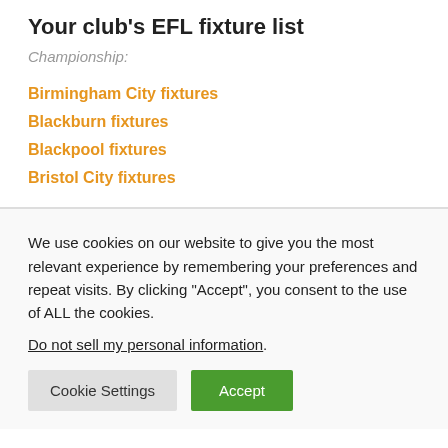Your club's EFL fixture list
Championship:
Birmingham City fixtures
Blackburn fixtures
Blackpool fixtures
Bristol City fixtures
We use cookies on our website to give you the most relevant experience by remembering your preferences and repeat visits. By clicking “Accept”, you consent to the use of ALL the cookies.
Do not sell my personal information.